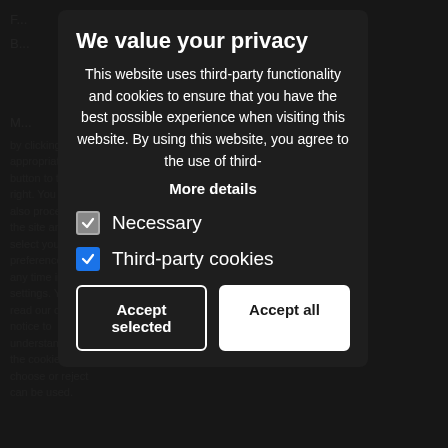We value your privacy
This website uses third-party functionality and cookies to ensure that you have the best possible experience when visiting this website. By using this website, you agree to the use of third-
More details
Necessary
Third-party cookies
Accept selected
Accept all